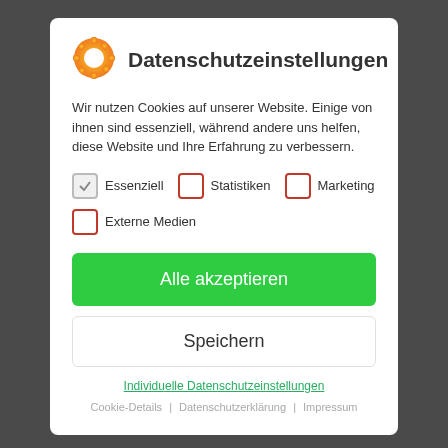[Figure (screenshot): Background showing a blurred/dark webpage with colorful content underneath the modal dialog]
Datenschutzeinstellungen
Wir nutzen Cookies auf unserer Website. Einige von ihnen sind essenziell, während andere uns helfen, diese Website und Ihre Erfahrung zu verbessern.
Essenziell  Statistiken  Marketing  Externe Medien
Alle akzeptieren
Speichern
Individuelle Datenschutzeinstellungen
Cookie-Details | Datenschutzerklärung | Impressum